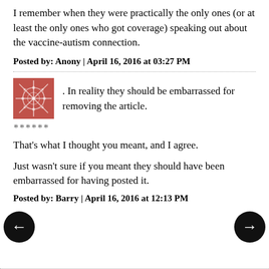I remember when they were practically the only ones (or at least the only ones who got coverage) speaking out about the vaccine-autism connection.
Posted by: Anony | April 16, 2016 at 03:27 PM
. In reality they should be embarrassed for removing the article.
******
That's what I thought you meant, and I agree.
Just wasn't sure if you meant they should have been embarrassed for having posted it.
Posted by: Barry | April 16, 2016 at 12:13 PM